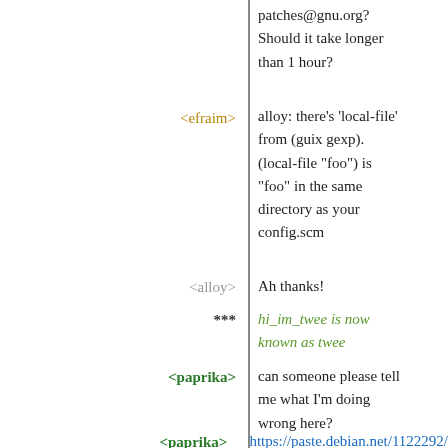patches@gnu.org? Should it take longer than 1 hour?
<efraim> alloy: there's 'local-file' from (guix gexp). (local-file "foo") is "foo" in the same directory as your config.scm
<alloy> Ah thanks!
*** hi_im_twee is now known as twee
<paprika> can someone please tell me what I'm doing wrong here?
<paprika> https://paste.debian.net/1122292/